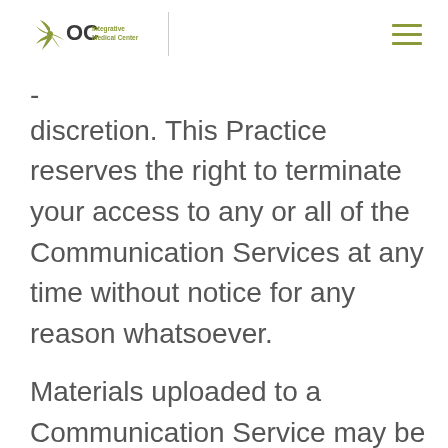OC Integrative Medical Center
discretion. This Practice reserves the right to terminate your access to any or all of the Communication Services at any time without notice for any reason whatsoever.
Materials uploaded to a Communication Service may be subject to posted limitations on